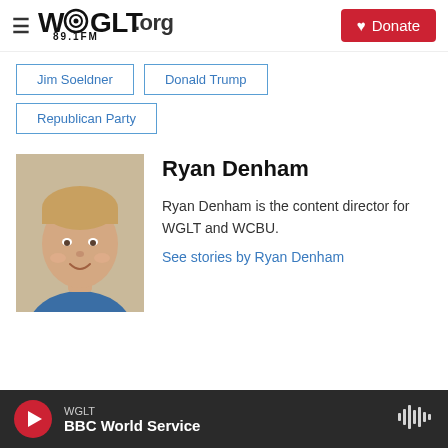WGLT.org 89.1FM — Donate
Jim Soeldner
Donald Trump
Republican Party
[Figure (photo): Headshot of Ryan Denham, a young man with short brown hair wearing a blue shirt, smiling]
Ryan Denham
Ryan Denham is the content director for WGLT and WCBU.
See stories by Ryan Denham
WGLT — BBC World Service